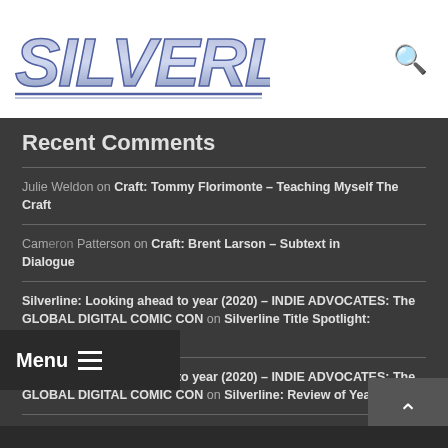[Figure (logo): Silverline logo in blue/purple metallic italic text with underline]
Recent Comments
Julie Weldon on Craft: Tommy Florimonte – Teaching Myself The Craft
Cameron Patterson on Craft: Brent Larson – Subtext in Dialogue
Silverline: Looking ahead to year (2020) – INDIE ADVOCATES: The GLOBAL DIGITAL COMIC CON on Silverline Title Spotlight: Pendulum, 1-4
Silverline: Looking ahead to year (2020) – INDIE ADVOCATES: The GLOBAL DIGITAL COMIC CON on Silverline: Review of Year 1
Silverline: Looking ahead to year 2(020) – INDIE ADVOCATES: The GLOBAL DIGITAL COMIC CON on Silverline November news